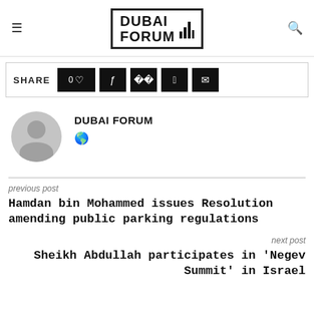DUBAI FORUM
SHARE 0 [like] [facebook] [twitter] [pinterest] [email]
[Figure (illustration): Gray circular avatar/profile placeholder icon with head and body silhouette]
DUBAI FORUM
[globe/world icon]
previous post
Hamdan bin Mohammed issues Resolution amending public parking regulations
next post
Sheikh Abdullah participates in 'Negev Summit' in Israel